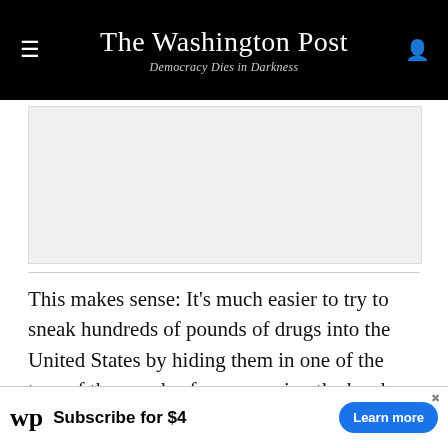The Washington Post — Democracy Dies in Darkness
[Figure (other): Advertisement placeholder banner (gray rectangle)]
This makes sense: It's much easier to try to sneak hundreds of pounds of drugs into the United States by hiding them in one of the tens of thousands of cars crossing the border in a given day than it is to try to haul them on foot through the unprotected desert. In part, as USA Today reported in 2017, this is by design. Existing barriers helped shunt drug smuggling activity to ports of entry, where it can be more easily detected.
[Figure (other): Washington Post subscription advertisement banner: WP logo, 'Subscribe for $4', 'Learn more' button]